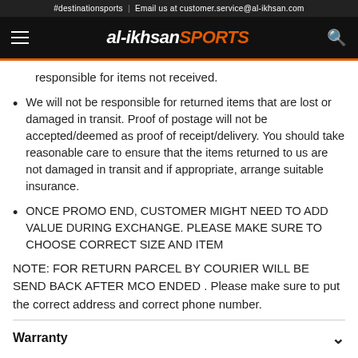#destinationsports  |  Email us at customer.service@al-ikhsan.com
al-ikhsan SPORTS
responsible for items not received.
We will not be responsible for returned items that are lost or damaged in transit. Proof of postage will not be accepted/deemed as proof of receipt/delivery. You should take reasonable care to ensure that the items returned to us are not damaged in transit and if appropriate, arrange suitable insurance.
ONCE PROMO END, CUSTOMER MIGHT NEED TO ADD VALUE DURING EXCHANGE. PLEASE MAKE SURE TO CHOOSE CORRECT SIZE AND ITEM
NOTE: FOR RETURN PARCEL BY COURIER WILL BE SEND BACK AFTER MCO ENDED . Please make sure to put the correct address and correct phone number.
Warranty